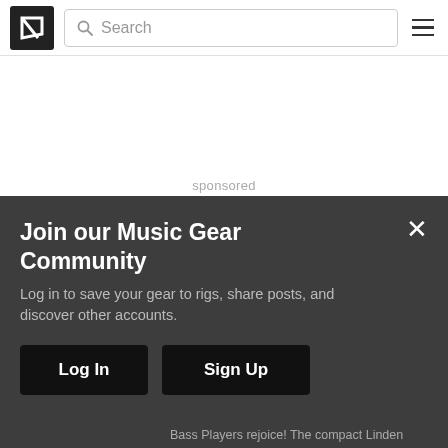Reverb logo, Search, Hamburger menu
sponsored
[Figure (infographic): Blue Reverb.com advertisement banner: 'Buy & sell music gear at Reverb.com' with circular Reverb logo on left]
Similar Gear
Join our Music Gear Community
Log in to save your gear to rigs, share posts, and discover other accounts.
Log In
Sign Up
Bass Players rejoice! The compact Linden